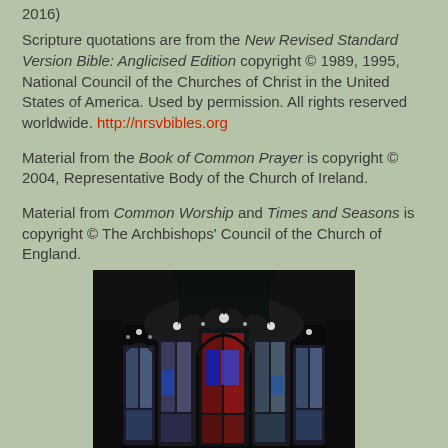2016)
Scripture quotations are from the New Revised Standard Version Bible: Anglicised Edition copyright © 1989, 1995, National Council of the Churches of Christ in the United States of America. Used by permission. All rights reserved worldwide. http://nrsvbibles.org
Material from the Book of Common Prayer is copyright © 2004, Representative Body of the Church of Ireland.
Material from Common Worship and Times and Seasons is copyright © The Archbishops' Council of the Church of England.
[Figure (photo): Stained glass windows in a dark church interior, showing Gothic arched panels with colorful glass including blue, red, and other colors illuminated from behind.]